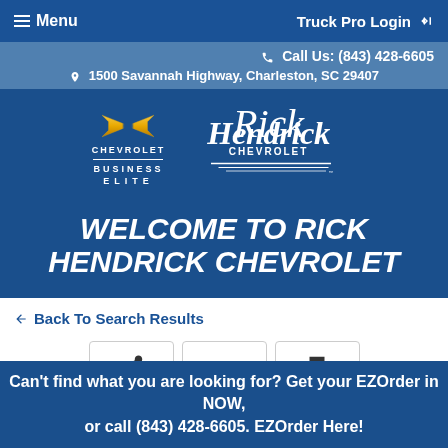Menu   Truck Pro Login
Call Us: (843) 428-6605
1500 Savannah Highway, Charleston, SC 29407
[Figure (logo): Chevrolet Business Elite logo and Rick Hendrick Chevrolet script logo with racing stripes]
WELCOME TO RICK HENDRICK CHEVROLET
← Back To Search Results
[Figure (infographic): Three action buttons: Share (arrow icon), Compare (truck icon), Print (printer icon)]
Can't find what you are looking for? Get your EZOrder in NOW, or call (843) 428-6605. EZOrder Here!